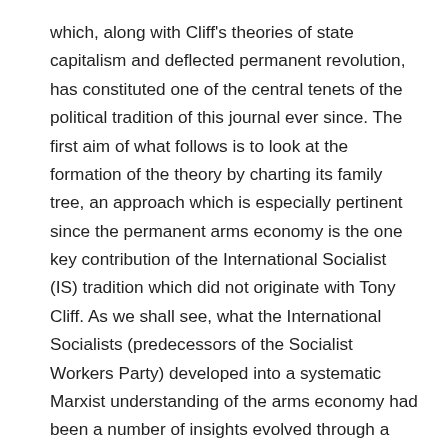which, along with Cliff's theories of state capitalism and deflected permanent revolution, has constituted one of the central tenets of the political tradition of this journal ever since. The first aim of what follows is to look at the formation of the theory by charting its family tree, an approach which is especially pertinent since the permanent arms economy is the one key contribution of the International Socialist (IS) tradition which did not originate with Tony Cliff. As we shall see, what the International Socialists (predecessors of the Socialist Workers Party) developed into a systematic Marxist understanding of the arms economy had been a number of insights evolved through a long, implicit dialogue with Keynesianism and underconsumptionist theories of post-war capitalism.